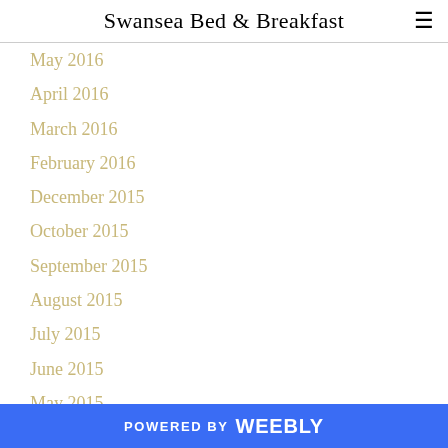Swansea Bed & Breakfast
May 2016
April 2016
March 2016
February 2016
December 2015
October 2015
September 2015
August 2015
July 2015
June 2015
May 2015
April 2015
March 2015
December 2014
October 2014
POWERED BY weebly